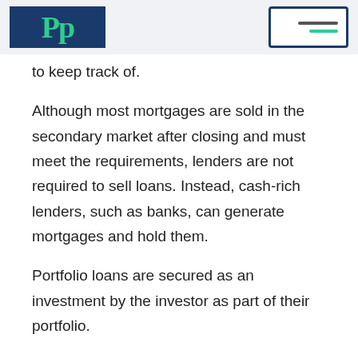PP [logo] [menu icon]
to keep track of.
Although most mortgages are sold in the secondary market after closing and must meet the requirements, lenders are not required to sell loans. Instead, cash-rich lenders, such as banks, can generate mortgages and hold them.
Portfolio loans are secured as an investment by the investor as part of their portfolio.